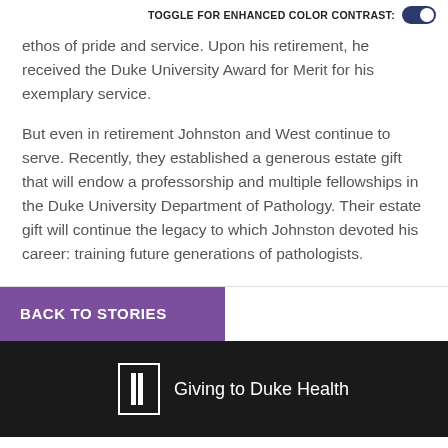TOGGLE FOR ENHANCED COLOR CONTRAST:
ethos of pride and service. Upon his retirement, he received the Duke University Award for Merit for his exemplary service.
But even in retirement Johnston and West continue to serve. Recently, they established a generous estate gift that will endow a professorship and multiple fellowships in the Duke University Department of Pathology. Their estate gift will continue the legacy to which Johnston devoted his career: training future generations of pathologists.
BACK TO STORIES
Giving to Duke Health